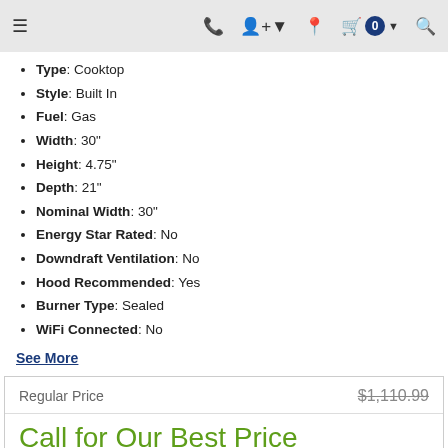Navigation header with menu, phone, account, location, cart (0), and search icons
Type: Cooktop
Style: Built In
Fuel: Gas
Width: 30"
Height: 4.75"
Depth: 21"
Nominal Width: 30"
Energy Star Rated: No
Downdraft Ventilation: No
Hood Recommended: Yes
Burner Type: Sealed
WiFi Connected: No
See More
| Label | Value |
| --- | --- |
| Regular Price | $1,110.99 |
| Call for Our Best Price |  |
| Rebate Available | See Details |